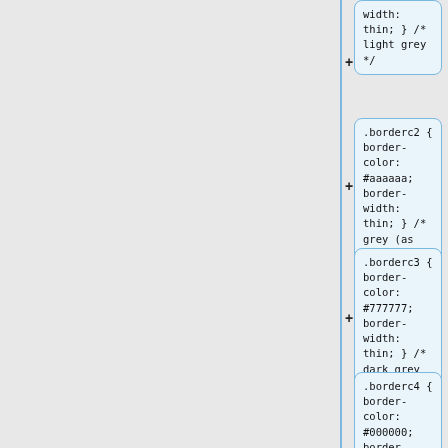width: thin; }  /* light grey */
.borderc2 { border-color: #aaaaaa; border-width: thin; }  /* grey (as toc) */
.borderc3 { border-color: #777777; border-width: thin; }  /* dark grey */
.borderc4 { border-color: #000000; border-width: thin; }  /* black */
.borderc5 { border-color: #c00000; border-